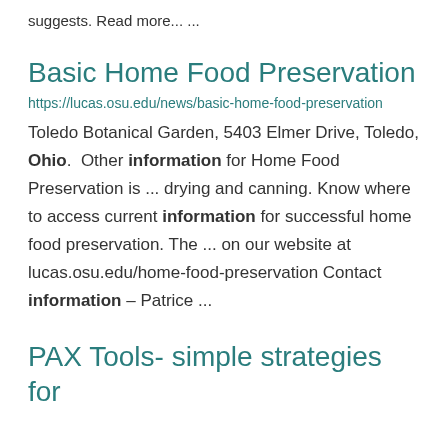suggests. Read more... ...
Basic Home Food Preservation
https://lucas.osu.edu/news/basic-home-food-preservation
Toledo Botanical Garden, 5403 Elmer Drive, Toledo, Ohio.  Other information for Home Food Preservation is ... drying and canning. Know where to access current information for successful home food preservation. The ... on our website at lucas.osu.edu/home-food-preservation Contact information – Patrice ...
PAX Tools- simple strategies for